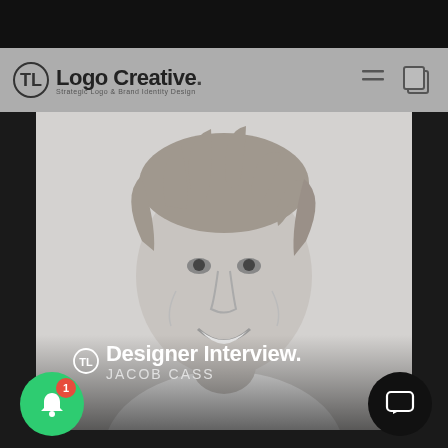[Figure (screenshot): Screenshot of Logo Creative website showing a designer interview article featuring Jacob Cass, with a black and white portrait photo, the Logo Creative header with logo, and overlay text reading 'Designer Interview. JACOB CASS'. Green notification bell button with red badge showing '1' in bottom left, black chat button in bottom right.]